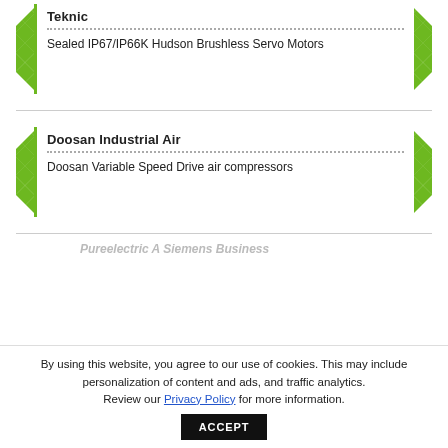Teknic
Sealed IP67/IP66K Hudson Brushless Servo Motors
Doosan Industrial Air
Doosan Variable Speed Drive air compressors
Pureelectric A Siemens Business
By using this website, you agree to our use of cookies. This may include personalization of content and ads, and traffic analytics. Review our Privacy Policy for more information.